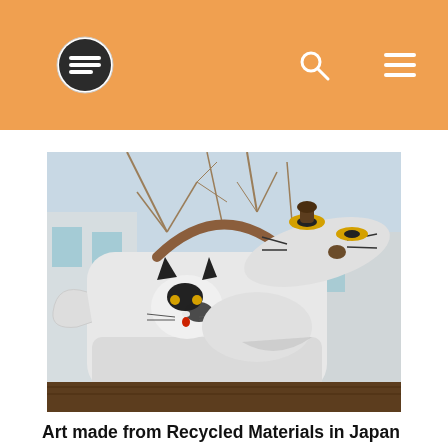Navigation header with logo, search icon, and menu icon
[Figure (photo): A white metal teapot with a hand-painted black and white cat design sitting outdoors on a wooden surface. The lid is propped open showing small decorative mushroom-like objects. Bare winter branches and a building are visible in the background.]
Art made from Recycled Materials in Japan